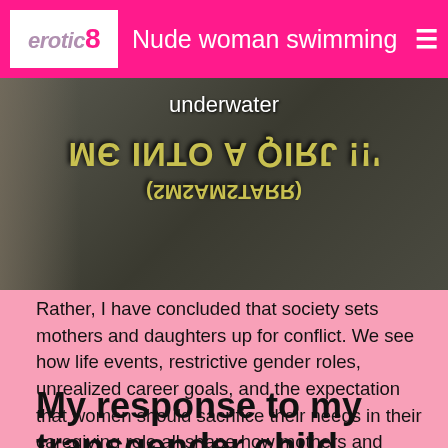erotic8  Nude woman swimming
[Figure (photo): Dark background image with mirrored/inverted text overlay reading 'underwater' at top, and reflected/inverted text lines below. Left side shows partial figure.]
Rather, I have concluded that society sets mothers and daughters up for conflict. We see how life events, restrictive gender roles, unrealized career goals, and the expectation that women should sacrifice their needs in their caregiving role all shape how mothers and daughters view themselves and each other and how they communicate.
My response to my transgender child